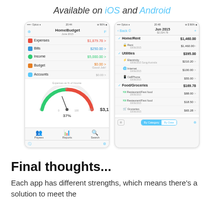Available on iOS and Android
[Figure (screenshot): Two mobile app screenshots of HomeBudget app. Left screen shows main menu with Expenses $1,879.78, Bills $250.00, Income $5,000.00, Budget $0.00, Accounts $0.00, a gauge showing 37% and Balance $3,120.22, and bottom tabs for Payees, Reports, Search. Right screen shows Jun 2015 detail with categories: Home/Rent $1,460.00 (Rent $1,460.00), Utilities $395.00 (Electricity $210.20, Internet $100.00, CellPhone $55.00), Food/Groceries $169.78 (Restaurant/Fast food $88.00, Restaurant/Fast food $18.50, Groceries $65.28). Bottom bar shows By Category and By Date toggle.]
Final thoughts...
Each app has different strengths, which means there's a solution to meet the